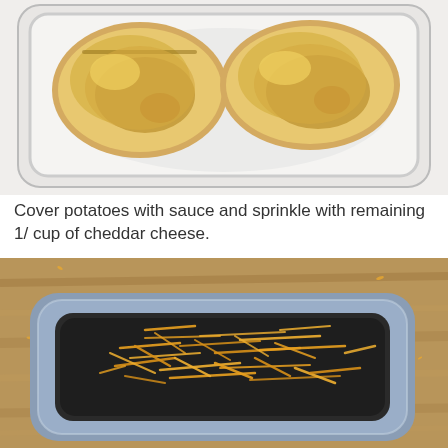[Figure (photo): Overhead view of two large wedges of baked potato in a white rectangular baking dish]
Cover potatoes with sauce and sprinkle with remaining 1/ cup of cheddar cheese.
[Figure (photo): Overhead view of a blue-gray rectangular baking dish with shredded cheddar cheese sprinkled inside, sitting on a wooden surface]